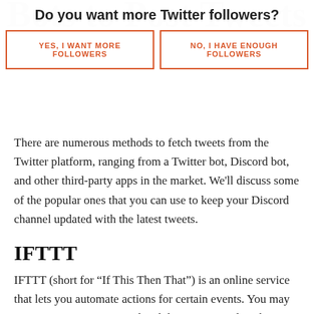Bots to Post Tweets from Twitter
[Figure (infographic): Ad overlay asking 'Do you want more Twitter followers?' with two buttons: 'YES, I WANT MORE FOLLOWERS' and 'NO, I HAVE ENOUGH FOLLOWERS', both in orange with orange borders on white background.]
There are numerous methods to fetch tweets from the Twitter platform, ranging from a Twitter bot, Discord bot, and other third-party apps in the market. We'll discuss some of the popular ones that you can use to keep your Discord channel updated with the latest tweets.
IFTTT
IFTTT (short for “If This Then That”) is an online service that lets you automate actions for certain events. You may connect Twitter to Discord and then create applets that execute actions when a trigger is set off.